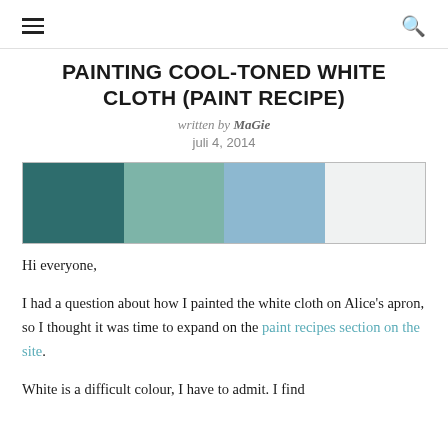☰  🔍
PAINTING COOL-TONED WHITE CLOTH (PAINT RECIPE)
written by MaGie
juli 4, 2014
[Figure (infographic): A horizontal colour palette strip showing four swatches from left to right: dark teal, medium muted teal-green, soft dusty blue, and near-white. Bordered with a thin grey outline.]
Hi everyone,
I had a question about how I painted the white cloth on Alice's apron, so I thought it was time to expand on the paint recipes section on the site.
White is a difficult colour, I have to admit. I find